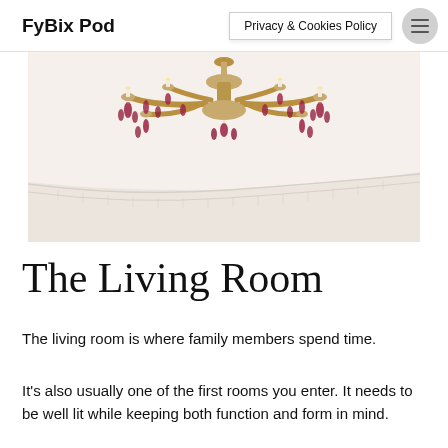FyBix Pod | Privacy & Cookies Policy
[Figure (photo): Close-up photograph of an ornate chandelier with gold/bronze arms and deep red/purple crystal droplets hanging from a white decorative ceiling with cornice molding.]
The Living Room
The living room is where family members spend time.
It's also usually one of the first rooms you enter. It needs to be well lit while keeping both function and form in mind.